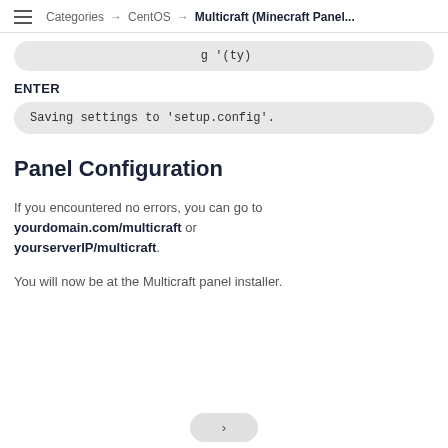Categories → CentOS → Multicraft (Minecraft Panel...
…g '(ty)…
ENTER
Saving settings to 'setup.config'.
Panel Configuration
If you encountered no errors, you can go to yourdomain.com/multicraft or yourserverIP/multicraft.
You will now be at the Multicraft panel installer.